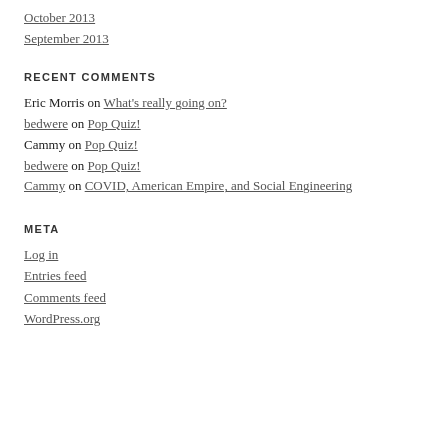October 2013
September 2013
RECENT COMMENTS
Eric Morris on What's really going on?
bedwere on Pop Quiz!
Cammy on Pop Quiz!
bedwere on Pop Quiz!
Cammy on COVID, American Empire, and Social Engineering
META
Log in
Entries feed
Comments feed
WordPress.org